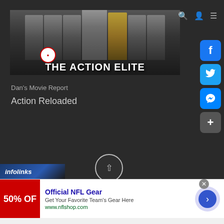[Figure (screenshot): The Action Elite website banner with movie characters and logo text 'THE ACTION ELITE' on dark background]
Dan's Movie Report
Action Reloaded
[Figure (infographic): Social media sidebar buttons: Facebook, Twitter, Messenger, Share]
[Figure (infographic): Infolinks advertisement bar at bottom left]
[Figure (infographic): Scroll-to-top circular button]
[Figure (infographic): Official NFL Gear advertisement: '50% OFF', 'Get Your Favorite Team's Gear Here', www.nflshop.com]